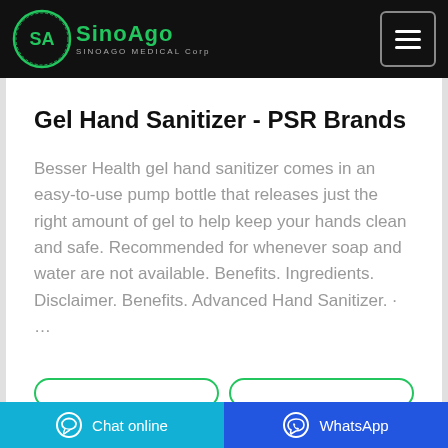[Figure (logo): SinoAgo Medical Corp logo — green circular emblem with 'SA' initials and green 'SinoAgo' brand name text, on black navigation bar]
Gel Hand Sanitizer - PSR Brands
Besser Health gel hand sanitizer comes in an easy-to-use pump bottle that releases just the right amount of gel to help keep your hands clean and safe. Recommended for whenever soap and water are not available. Benefits. Ingredients. Disclaimer. Benefits. Advanced Hand Sanitizer. · …
Chat online   WhatsApp